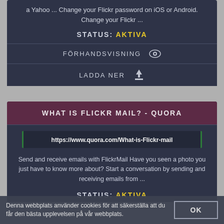a Yahoo ... Change your Flickr password on iOS or Android. Change your Flickr ...
STATUS: AKTIVA
FÖRHANDSVISNING 👁
LADDA NER ⬇
WHAT IS FLICKR MAIL? - QUORA
https://www.quora.com/What-is-Flickr-mail
Send and receive emails with FlickrMail Have you seen a photo you just have to know more about? Start a conversation by sending and receiving emails from ...
STATUS: AKTIVA
Denna webbplats använder cookies för att säkerställa att du får den bästa upplevelsen på vår webbplats.